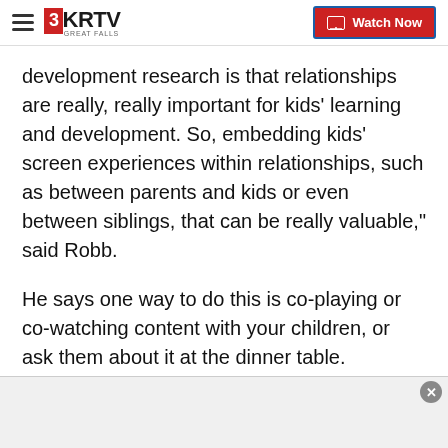3KRTV GREAT FALLS | Watch Now
development research is that relationships are really, really important for kids' learning and development. So, embedding kids' screen experiences within relationships, such as between parents and kids or even between siblings, that can be really valuable," said Robb.
He says one way to do this is co-playing or co-watching content with your children, or ask them about it at the dinner table.
“There are lots of kids out there for whom if you say